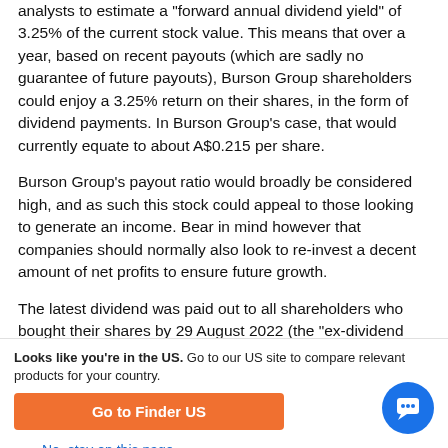analysts to estimate a "forward annual dividend yield" of 3.25% of the current stock value. This means that over a year, based on recent payouts (which are sadly no guarantee of future payouts), Burson Group shareholders could enjoy a 3.25% return on their shares, in the form of dividend payments. In Burson Group's case, that would currently equate to about A$0.215 per share.
Burson Group's payout ratio would broadly be considered high, and as such this stock could appeal to those looking to generate an income. Bear in mind however that companies should normally also look to re-invest a decent amount of net profits to ensure future growth.
The latest dividend was paid out to all shareholders who bought their shares by 29 August 2022 (the "ex-dividend
Looks like you're in the US. Go to our US site to compare relevant products for your country.
Go to Finder US
No, stay on this page